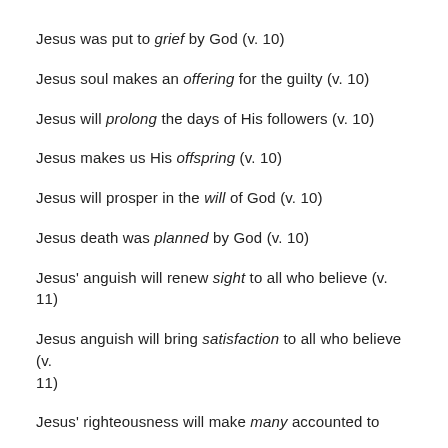Jesus was put to grief by God (v. 10)
Jesus soul makes an offering for the guilty (v. 10)
Jesus will prolong the days of His followers (v. 10)
Jesus makes us His offspring (v. 10)
Jesus will prosper in the will of God (v. 10)
Jesus death was planned by God (v. 10)
Jesus' anguish will renew sight to all who believe (v. 11)
Jesus anguish will bring satisfaction to all who believe (v. 11)
Jesus' righteousness will make many accounted to